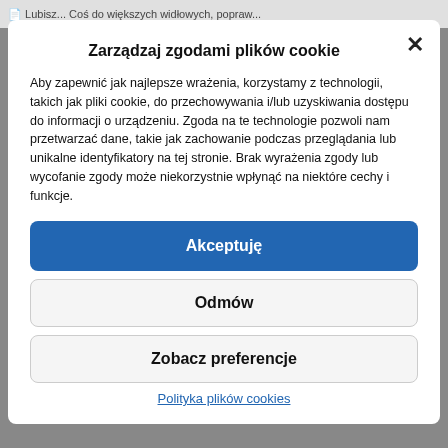Lubisz... Coś do większych widłowych, popraw...
Zarządzaj zgodami plików cookie
Aby zapewnić jak najlepsze wrażenia, korzystamy z technologii, takich jak pliki cookie, do przechowywania i/lub uzyskiwania dostępu do informacji o urządzeniu. Zgoda na te technologie pozwoli nam przetwarzać dane, takie jak zachowanie podczas przeglądania lub unikalne identyfikatory na tej stronie. Brak wyrażenia zgody lub wycofanie zgody może niekorzystnie wpłynąć na niektóre cechy i funkcje.
Akceptuję
Odmów
Zobacz preferencje
Polityka plików cookies